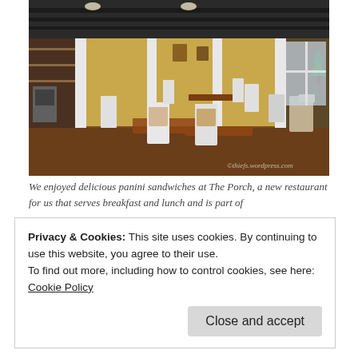[Figure (photo): Interior of The Porch restaurant showing white wooden chairs, wooden tables with warm brown tones, white columns, hardwood floors, and various decor items. Watermark reads 'OhieksWordpress.com' in bottom right corner.]
We enjoyed delicious panini sandwiches at The Porch, a new restaurant for us that serves breakfast and lunch and is part of
Privacy & Cookies: This site uses cookies. By continuing to use this website, you agree to their use.
To find out more, including how to control cookies, see here:
Cookie Policy

Close and accept
We've tried that place twice and are not at all